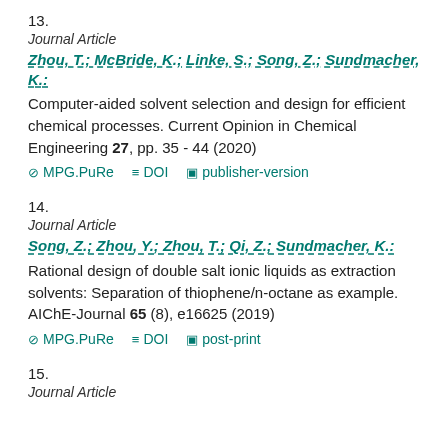13.
Journal Article
Zhou, T.; McBride, K.; Linke, S.; Song, Z.; Sundmacher, K.:
Computer-aided solvent selection and design for efficient chemical processes. Current Opinion in Chemical Engineering 27, pp. 35 - 44 (2020)
MPG.PuRe   DOI   publisher-version
14.
Journal Article
Song, Z.; Zhou, Y.; Zhou, T.; Qi, Z.; Sundmacher, K.:
Rational design of double salt ionic liquids as extraction solvents: Separation of thiophene/n-octane as example. AIChE-Journal 65 (8), e16625 (2019)
MPG.PuRe   DOI   post-print
15.
Journal Article